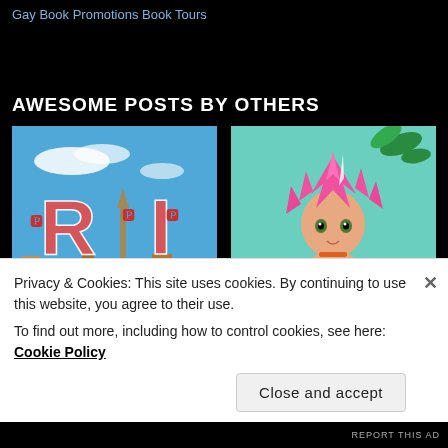Gay Book Promotions Book Tours
AWESOME POSTS BY OTHERS
[Figure (photo): Book cover with large letters R and I against a blue sky background with a Venice-like cityscape, text reading BENEDIZO at bottom]
[Figure (illustration): Anime-style girl with bright pink spiky hair wearing a red outfit, looking over her shoulder against a teal background with leaves]
Privacy & Cookies: This site uses cookies. By continuing to use this website, you agree to their use.
To find out more, including how to control cookies, see here: Cookie Policy